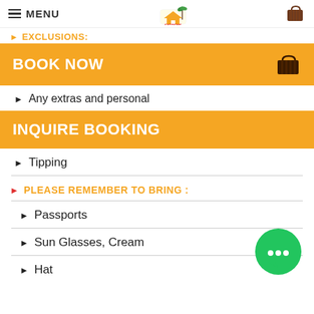MENU
EXCLUSIONS:
BOOK NOW
Any extras and personal
INQUIRE BOOKING
Tipping
PLEASE REMEMBER TO BRING :
Passports
Sun Glasses, Cream
Hat